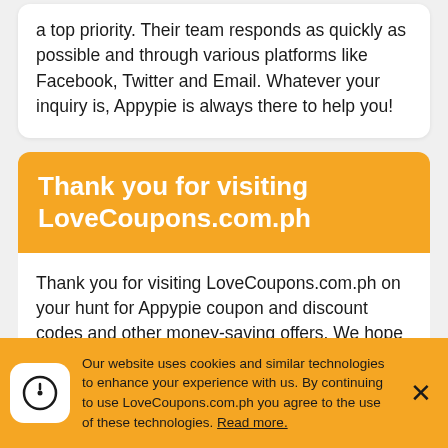customer service. They put their customers as a top priority. Their team responds as quickly as possible and through various platforms like Facebook, Twitter and Email. Whatever your inquiry is, Appypie is always there to help you!
Thank you for visiting LoveCoupons.com.ph
Thank you for visiting LoveCoupons.com.ph on your hunt for Appypie coupon and discount codes and other money-saving offers. We hope that one of our 5 Appypie coupons and offers for August 2022 help you save money on your next purchase. When you visit
Our website uses cookies and similar technologies to enhance your experience with us. By continuing to use LoveCoupons.com.ph you agree to the use of these technologies. Read more.